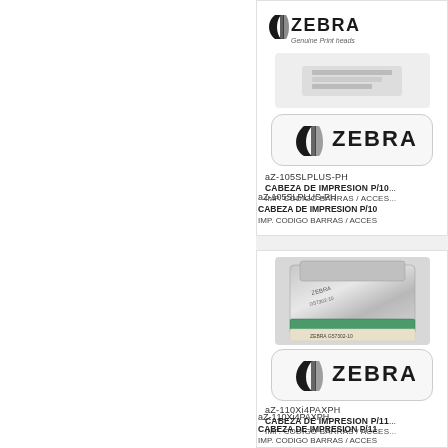[Figure (photo): Top product card showing Zebra genuine print heads packaging with Zebra logo and 'Genuine Print heads' text. Below is a rounded rectangle badge with Zebra logo.]
aZ-105SLPLUS-PH
CABEZA DE IMPRESION P/10
IMP. CODIGO BARRAS / ACCES
[Figure (photo): Bottom product card showing packaged Zebra print head in metallic/silver packaging with green thermal element visible. Below is a rounded rectangle badge with Zebra logo.]
aZ-110Xi4PAXPH
CABEZA DE IMPRESION P/11
IMP. CODIGO BARRAS / ACCES